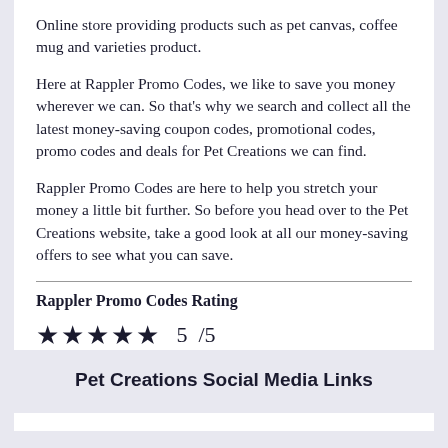Online store providing products such as pet canvas, coffee mug and varieties product.
Here at Rappler Promo Codes, we like to save you money wherever we can. So that's why we search and collect all the latest money-saving coupon codes, promotional codes, promo codes and deals for Pet Creations we can find.
Rappler Promo Codes are here to help you stretch your money a little bit further. So before you head over to the Pet Creations website, take a good look at all our money-saving offers to see what you can save.
Rappler Promo Codes Rating
★★★★★  5  /5
Pet Creations Social Media Links